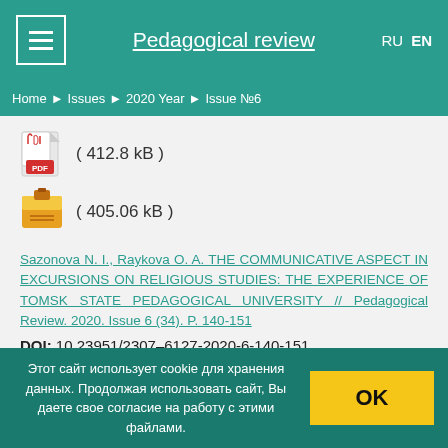Pedagogical review | RU EN
Home ▶ Issues ▶ 2020 Year ▶ Issue №6
( 412.8 kB )
( 405.06 kB )
Sazonova N. I., Raykova O. A. THE COMMUNICATIVE ASPECT IN EXCURSIONS ON RELIGIOUS STUDIES: THE EXPERIENCE OF TOMSK STATE PEDAGOGICAL UNIVERSITY // Pedagogical Review. 2020. Issue 6 (34). P. 140-151
DOI: 10.23951/2307–6127-2020-6-140-151
Downloads: 381
( 441.29 kB )
Этот сайт использует cookie для хранения данных. Продолжая использовать сайт, Вы даете свое согласие на работу с этими файлами.